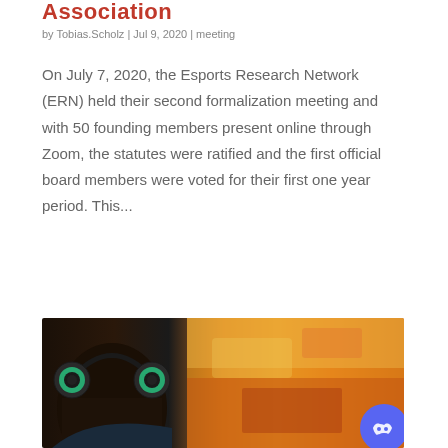Association
by Tobias.Scholz | Jul 9, 2020 | meeting
On July 7, 2020, the Esports Research Network (ERN) held their second formalization meeting and with 50 founding members present online through Zoom, the statutes were ratified and the first official board members were voted for their first one year period. This...
[Figure (photo): Person wearing green headphones viewed from behind, with colorful game screen in background. Discord button overlay in bottom right.]